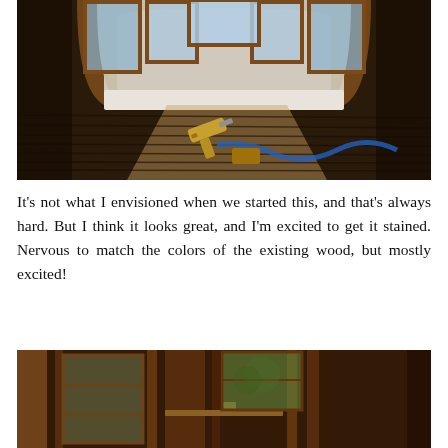[Figure (photo): Interior room with arched wooden frame and multiple windows at top, wooden floorboards with a nail gun and air hose tool resting on the floor, sunlight streaming in.]
It's not what I envisioned when we started this, and that's always hard. But I think it looks great, and I'm excited to get it stained. Nervous to match the colors of the existing wood, but mostly excited!
[Figure (photo): Close-up interior view of wooden beams and windows, showing wood trim and window frames with trees visible outside.]